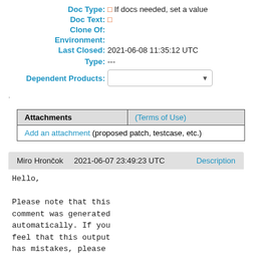Doc Type: □ If docs needed, set a value
Doc Text: □
Clone Of:
Environment:
Last Closed: 2021-06-08 11:35:12 UTC
Type: ---
Dependent Products: [dropdown]
| Attachments | (Terms of Use) |
| --- | --- |
| Add an attachment (proposed patch, testcase, etc.) |  |
Miro Hrončok   2021-06-07 23:49:23 UTC   Description
Hello,

Please note that this
comment was generated
automatically. If you
feel that this output
has mistakes, please